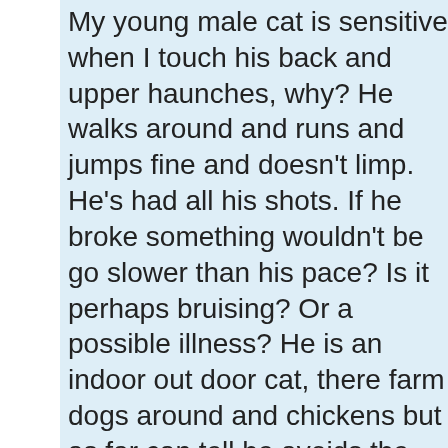My young male cat is sensitive when I touch his back and upper haunches, why? He walks around and runs and jumps fine and doesn't limp. He's had all his shots. If he broke something wouldn't be go slower than his pace? Is it perhaps bruising? Or a possible illness? He is an indoor out door cat, there's farm dogs around and chickens but as far as I can tell he avoids the gravel road where the cars pass. We can pet his back gently but if we press he meows in discomfort. I don't know, please help.
My cat has some dry skin just before her tail, what might it be?
She also sheds constantly. She hasn't been to the vet in awhile, so I don't know if she has particular problems. She is indoors consta...